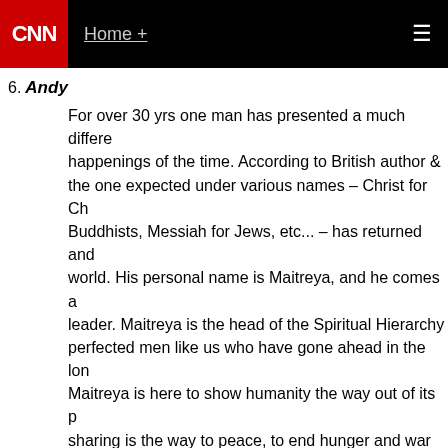CNN Home +
6. Andy

For over 30 yrs one man has presented a much different view of the happenings of the time. According to British author & teacher Creme, the one expected under various names – Christ for Christians, Maitreya for Buddhists, Messiah for Jews, etc... – has returned and is now in our world. His personal name is Maitreya, and he comes as a teacher and leader. Maitreya is the head of the Spiritual Hierarchy of Masters – perfected men like us who have gone ahead in the long long journey. Maitreya is here to show humanity the way out of its present crisis. sharing is the way to peace, to end hunger and war fo...

May 18, 2011 at 1:37 pm |
7. Jamal Brown, Detroit, MI

All I know is that I sold all my personal belongings because... wrong, I'll be making a visit.

May 18, 2011 at 1:37 pm |
o Gail, Chapel Hill, NC